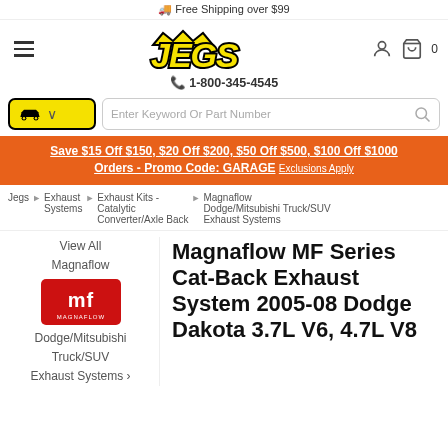Free Shipping over $99
[Figure (logo): JEGS logo in yellow bold italic text with crown]
1-800-345-4545
Save $15 Off $150, $20 Off $200, $50 Off $500, $100 Off $1000 Orders - Promo Code: GARAGE Exclusions Apply
Jegs > Exhaust Systems > Exhaust Kits - Catalytic Converter/Axle Back > Magnaflow Dodge/Mitsubishi Truck/SUV Exhaust Systems
View All
Magnaflow
[Figure (logo): Magnaflow MF logo in red and black]
Dodge/Mitsubishi
Truck/SUV
Exhaust Systems >
Magnaflow MF Series Cat-Back Exhaust System 2005-08 Dodge Dakota 3.7L V6, 4.7L V8